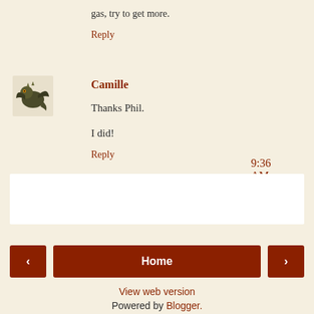gas, try to get more.
Reply
Camille 9:36 AM
Thanks Phil.
I did!
Reply
[Figure (other): Comment input area with user avatar placeholder and 'Enter Comment' placeholder text with underline]
Home
View web version
Powered by Blogger.